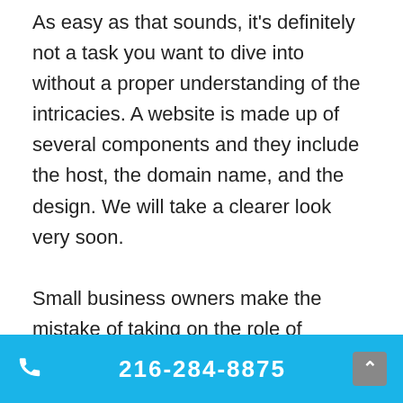As easy as that sounds, it's definitely not a task you want to dive into without a proper understanding of the intricacies. A website is made up of several components and they include the host, the domain name, and the design. We will take a clearer look very soon.

Small business owners make the mistake of taking on the role of website design experts. This will not only take up all the
216-284-8875